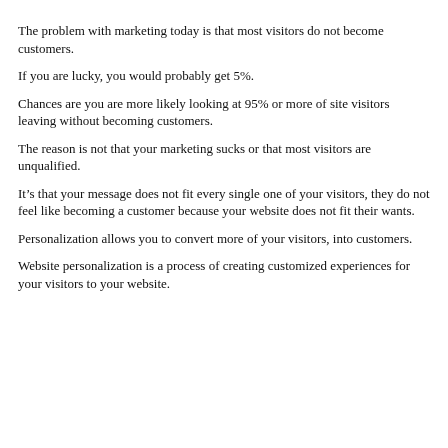The problem with marketing today is that most visitors do not become customers.
If you are lucky, you would probably get 5%.
Chances are you are more likely looking at 95% or more of site visitors leaving without becoming customers.
The reason is not that your marketing sucks or that most visitors are unqualified.
It’s that your message does not fit every single one of your visitors, they do not feel like becoming a customer because your website does not fit their wants.
Personalization allows you to convert more of your visitors, into customers.
Website personalization is a process of creating customized experiences for your visitors to your website.